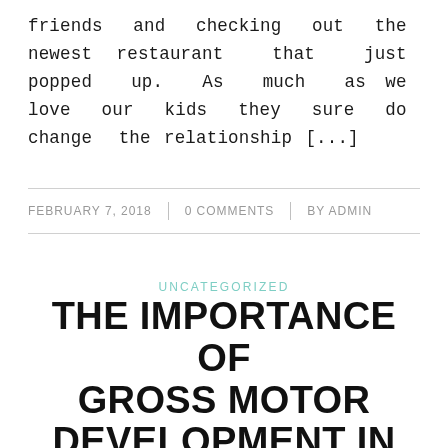friends and checking out the newest restaurant that just popped up. As much as we love our kids they sure do change the relationship [...]
FEBRUARY 7, 2018 | 0 COMMENTS | BY ADMIN
UNCATEGORIZED
THE IMPORTANCE OF GROSS MOTOR DEVELOPMENT IN EARLY CHILDHOOD